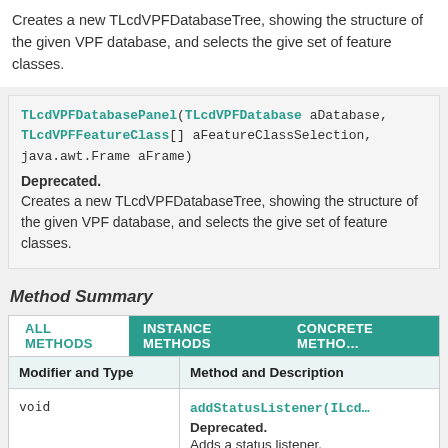Creates a new TLcdVPFDatabaseTree, showing the structure of the given VPF database, and selects the given set of feature classes.
TLcdVPFDatabasePanel(TLcdVPFDatabase aDatabase, TLcdVPFFeatureClass[] aFeatureClassSelection, java.awt.Frame aFrame)
Deprecated.
Creates a new TLcdVPFDatabaseTree, showing the structure of the given VPF database, and selects the given set of feature classes.
Method Summary
| Modifier and Type | Method and Description |
| --- | --- |
| void | addStatusListener(ILcd...
Deprecated.
Adds a status listener. |